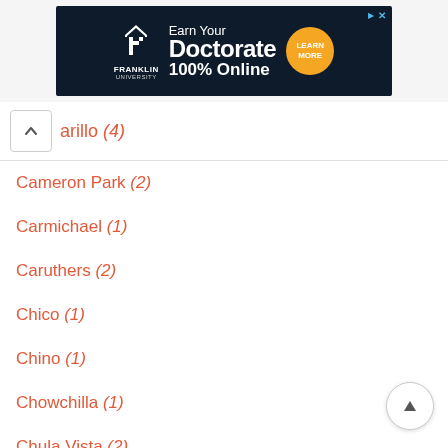[Figure (illustration): Franklin University advertisement banner: dark navy background with Franklin University logo, text 'Earn Your Doctorate 100% Online', and an orange 'Learn More' circular button. Ad corner icons in top right.]
arillo (4)
Cameron Park (2)
Carmichael (1)
Caruthers (2)
Chico (1)
Chino (1)
Chowchilla (1)
Chula Vista (2)
Citrus Heights (1)